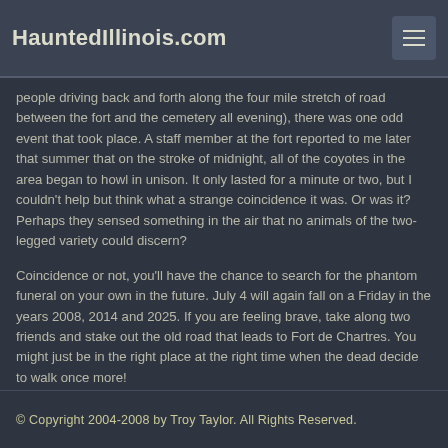HauntedIllinois.com
people driving back and forth along the four mile stretch of road between the fort and the cemetery all evening), there was one odd event that took place. A staff member at the fort reported to me later that summer that on the stroke of midnight, all of the coyotes in the area began to howl in unison. It only lasted for a minute or two, but I couldn't help but think what a strange coincidence it was. Or was it? Perhaps they sensed something in the air that no animals of the two-legged variety could discern?
Coincidence or not, you'll have the chance to search for the phantom funeral on your own in the future. July 4 will again fall on a Friday in the years 2008, 2014 and 2025. If you are feeling brave, take along two friends and stake out the old road that leads to Fort de Chartres. You might just be in the right place at the right time when the dead decide to walk once more!
© Copyright 2004-2008 by Troy Taylor. All Rights Reserved.